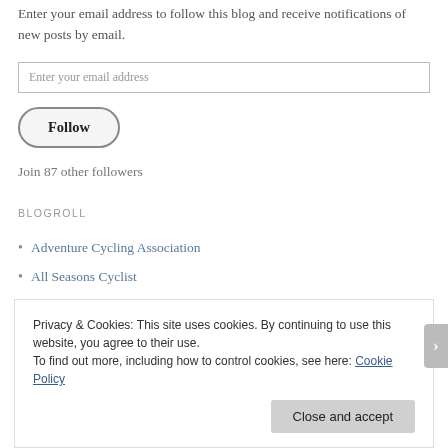Enter your email address to follow this blog and receive notifications of new posts by email.
Enter your email address
Follow
Join 87 other followers
BLOGROLL
Adventure Cycling Association
All Seasons Cyclist
Bike Grease and Coffee
Privacy & Cookies: This site uses cookies. By continuing to use this website, you agree to their use. To find out more, including how to control cookies, see here: Cookie Policy
Close and accept